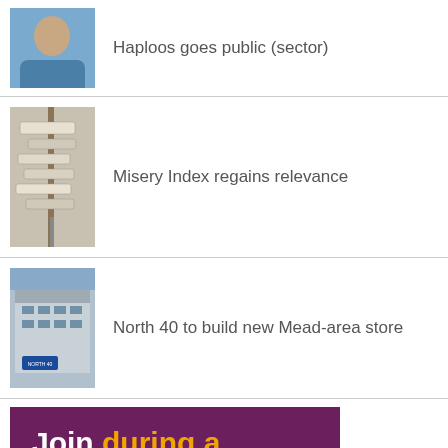Haploos goes public (sector)
Misery Index regains relevance
North 40 to build new Mead-area store
[Figure (infographic): Advertisement with purple background. Text reads: Join during a bad first date. Join anywhere...]